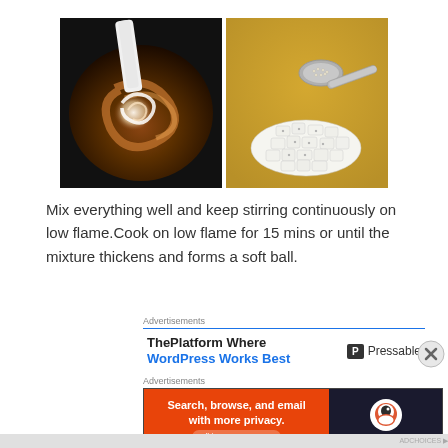[Figure (photo): Two cooking photos side by side: left shows dark caramel/butter mixture in a pan being stirred with a white spatula; right shows a spoon with small seeds/powder over a pile of white chopped pieces on a yellow surface.]
Mix everything well and keep stirring continuously on low flame.Cook on low flame for 15 mins or until the mixture thickens and forms a soft ball.
[Figure (screenshot): Advertisement banner: 'Advertisements' label, blue top border. ThePlatform Where WordPress Works Best | Pressable logo. Close button (X) on right.]
[Figure (screenshot): Advertisement banner: 'Advertisements' label. Orange section: 'Search, browse, and email with more privacy. All in One Free App'. Dark section: DuckDuckGo logo and text.]